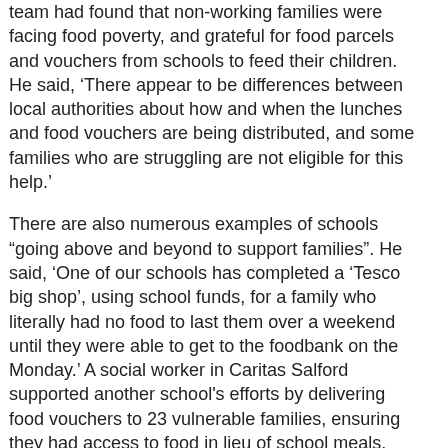team had found that non-working families were facing food poverty, and grateful for food parcels and vouchers from schools to feed their children. He said, ‘There appear to be differences between local authorities about how and when the lunches and food vouchers are being distributed, and some families who are struggling are not eligible for this help.’
There are also numerous examples of schools “going above and beyond to support families”. He said, ‘One of our schools has completed a ‘Tesco big shop’, using school funds, for a family who literally had no food to last them over a weekend until they were able to get to the foodbank on the Monday.’ A social worker in Caritas Salford supported another school's efforts by delivering food vouchers to 23 vulnerable families, ensuring they had access to food in lieu of school meals, and doing a doorstep welfare check with the children at the same time.
This post is adapted from an article by Ellen Teague, first published in ‘The Tablet’ in association with CSAN.